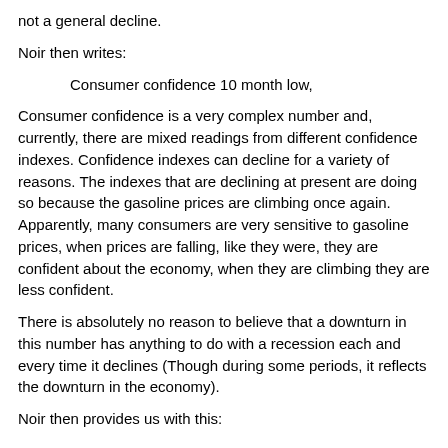not a general decline.
Noir then writes:
Consumer confidence 10 month low,
Consumer confidence is a very complex number and, currently, there are mixed readings from different confidence indexes. Confidence indexes can decline for a variety of reasons. The indexes that are declining at present are doing so because the gasoline prices are climbing once again. Apparently, many consumers are very sensitive to gasoline prices, when prices are falling, like they were, they are confident about the economy, when they are climbing they are less confident.
There is absolutely no reason to believe that a downturn in this number has anything to do with a recession each and every time it declines (Though during some periods, it reflects the downturn in the economy).
Noir then provides us with this: